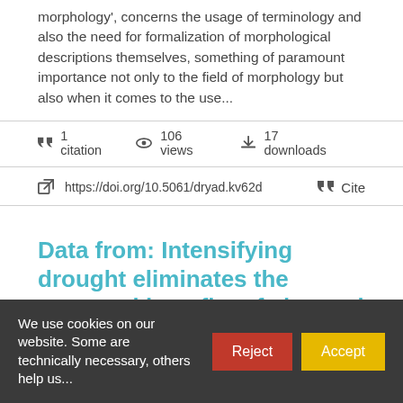morphology', concerns the usage of terminology and also the need for formalization of morphological descriptions themselves, something of paramount importance not only to the field of morphology but also when it comes to the use...
1 citation   106 views   17 downloads
https://doi.org/10.5061/dryad.kv62d   Cite
Data from: Intensifying drought eliminates the expected benefits of elevated carbon dioxide for soybean
We use cookies on our website. Some are technically necessary, others help us...